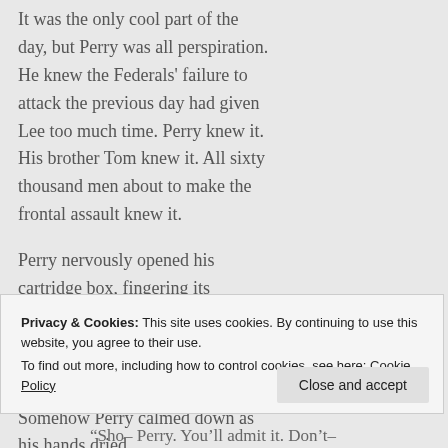It was the only cool part of the day, but Perry was all perspiration. He knew the Federals' failure to attack the previous day had given Lee too much time. Perry knew it. His brother Tom knew it. All sixty thousand men about to make the frontal assault knew it.
Perry nervously opened his cartridge box, fingering its contents. The paper encasing the ball and powder grew damp with perspiration.
Somehow Perry calmed down as his hands dried.
Privacy & Cookies: This site uses cookies. By continuing to use this website, you agree to their use.
To find out more, including how to control cookies, see here: Cookie Policy
“Sho– Perry. You’ll admit it. Don’t–